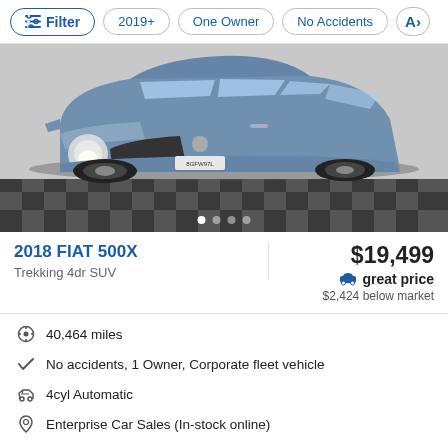Filter | 2019+ | One Owner | No Accidents | A>
[Figure (photo): Blue 2018 Fiat 500X Trekking SUV photographed in a studio with checkered floor, front 3/4 view. License plate partially visible: 8GFW97L. Carousel dots below the image.]
2018 FIAT 500X
Trekking 4dr SUV
$19,499
great price
$2,424 below market
40,464 miles
No accidents, 1 Owner, Corporate fleet vehicle
4cyl Automatic
Enterprise Car Sales (In-stock online)
Home delivery*